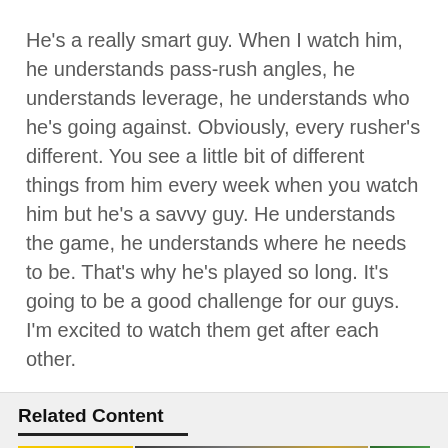He's a really smart guy. When I watch him, he understands pass-rush angles, he understands leverage, he understands who he's going against. Obviously, every rusher's different. You see a little bit of different things from him every week when you watch him but he's a savvy guy. He understands the game, he understands where he needs to be. That's why he's played so long. It's going to be a good challenge for our guys. I'm excited to watch them get after each other.
Related Content
[Figure (photo): Three thumbnail images in a row: left shows Green Bay Packers logo on yellow background, center shows a Packers player in helmet, right shows crowd at Packers game]